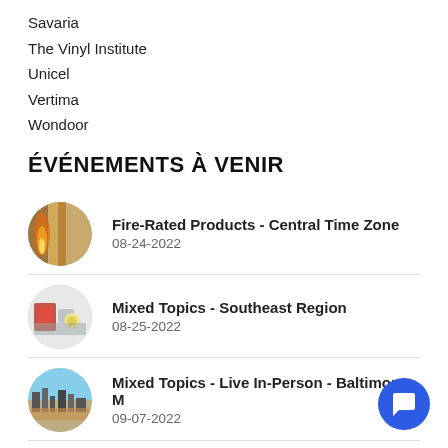Savaria
The Vinyl Institute
Unicel
Vertima
Wondoor
ÉVÉNEMENTS À VENIR
Fire-Rated Products - Central Time Zone
08-24-2022
Mixed Topics - Southeast Region
08-25-2022
Mixed Topics - Live In-Person - Baltimore, M
09-07-2022